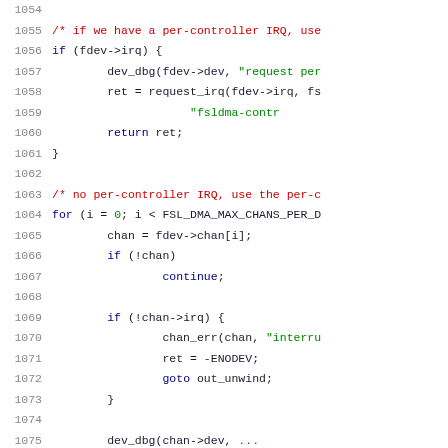[Figure (screenshot): Source code listing in C showing lines 1054-1075, with syntax highlighting. Line numbers in gray, keywords in dark blue, comments in red, string literals in green.]